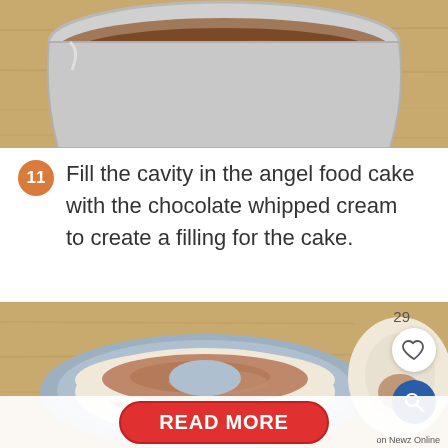[Figure (photo): Top portion of a mixing bowl on a wooden surface, showing chocolate or cocoa mixture inside a metal bowl]
11 Fill the cavity in the angel food cake with the chocolate whipped cream to create a filling for the cake.
[Figure (photo): Angel food cake on a blue plate with chocolate whipped cream filling in the cavity, and a second piece of cake to the right, on a wooden surface. UI overlays: like count 29, heart/like button, search button.]
READ MORE
on Newz Online